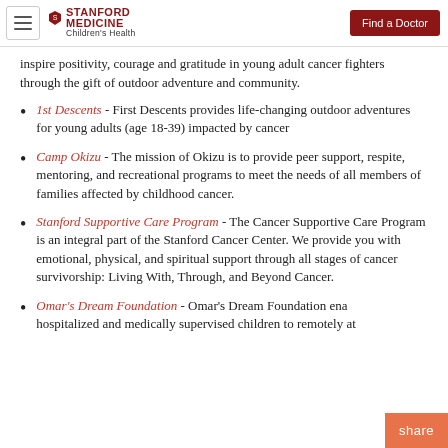Stanford Medicine Children's Health | Find a Doctor
inspire positivity, courage and gratitude in young adult cancer fighters through the gift of outdoor adventure and community.
1st Descents - First Descents provides life-changing outdoor adventures for young adults (age 18-39) impacted by cancer
Camp Okizu - The mission of Okizu is to provide peer support, respite, mentoring, and recreational programs to meet the needs of all members of families affected by childhood cancer.
Stanford Supportive Care Program - The Cancer Supportive Care Program is an integral part of the Stanford Cancer Center. We provide you with emotional, physical, and spiritual support through all stages of cancer survivorship: Living With, Through, and Beyond Cancer.
Omar's Dream Foundation - Omar's Dream Foundation enables hospitalized and medically supervised children to remotely at...